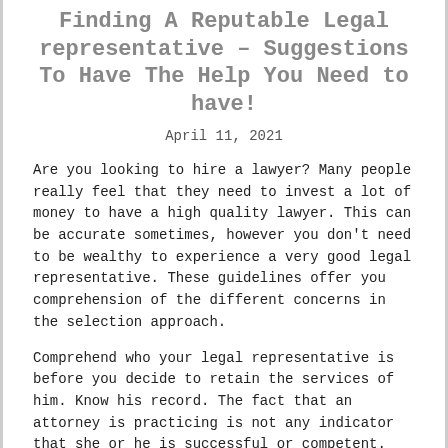Finding A Reputable Legal representative – Suggestions To Have The Help You Need to have!
April 11, 2021
Are you looking to hire a lawyer? Many people really feel that they need to invest a lot of money to have a high quality lawyer. This can be accurate sometimes, however you don't need to be wealthy to experience a very good legal representative. These guidelines offer you comprehension of the different concerns in the selection approach.
Comprehend who your legal representative is before you decide to retain the services of him. Know his record. The fact that an attorney is practicing is not any indicator that she or he is successful or competent. Make sure that you find